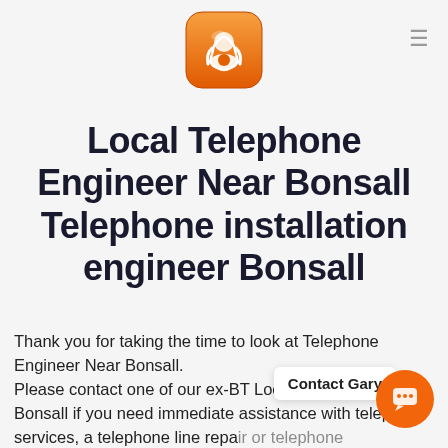[Figure (logo): Orange rounded square icon with a white telephone handset on orange gradient background]
Local Telephone Engineer Near Bonsall Telephone installation engineer Bonsall
Thank you for taking the time to look at Telephone Engineer Near Bonsall.
Please contact one of our ex-BT Local engineers in Bonsall if you need immediate assistance with telephone services, a telephone line repair or telephone installation. Our Bonsall ex-BT engineers are just a phone call or email away.